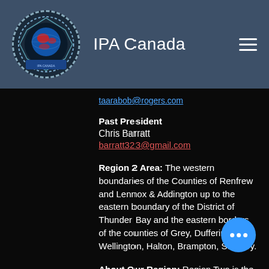[Figure (logo): IPA Canada logo — circular emblem with globe, red and white colors, dashed border]
IPA Canada
taarabob@rogers.com (partial link visible)
Past President
Chris Barratt
barratt323@gmail.com
Region 2 Area: The western boundaries of the Counties of Renfrew and Lennox & Addington up to the eastern boundary of the District of Thunder Bay and the eastern borders of the counties of Grey, Dufferin, Wellington, Halton, Brampton, Sudbury.
About Our Region: Region Two is the largest Canadian IPA region in membership, exceeding 350 members. The Region covers m... of Central Ontario including the